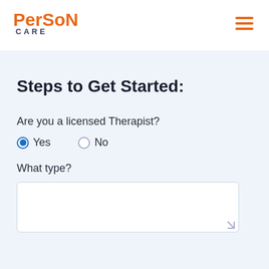[Figure (logo): PerSoN CARE logo in orange and dark navy text]
[Figure (other): Hamburger menu icon with three orange horizontal lines]
Steps to Get Started:
Are you a licensed Therapist?
Yes (selected radio button) No (unselected radio button)
What type?
[Figure (other): Empty text input box for typing therapist type]